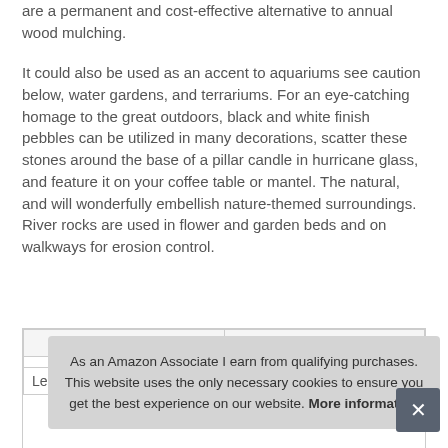are a permanent and cost-effective alternative to annual wood mulching.
It could also be used as an accent to aquariums see caution below, water gardens, and terrariums. For an eye-catching homage to the great outdoors, black and white finish pebbles can be utilized in many decorations, scatter these stones around the base of a pillar candle in hurricane glass, and feature it on your coffee table or mantel. The natural, and will wonderfully embellish nature-themed surroundings. River rocks are used in flower and garden beds and on walkways for erosion control.
| Ma... |  |
| --- | --- |
| Length | 4 Inches |
As an Amazon Associate I earn from qualifying purchases. This website uses the only necessary cookies to ensure you get the best experience on our website. More information